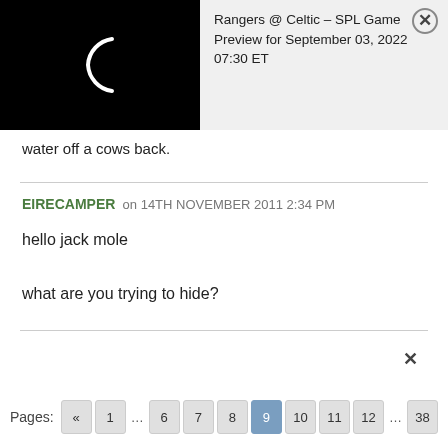[Figure (screenshot): Loading spinner on black background with notification popup: Rangers @ Celtic - SPL Game Preview for September 03, 2022 07:30 ET]
water off a cows back.
EIRECAMPER on 14TH NOVEMBER 2011 2:34 PM
hello jack mole

what are you trying to hide?
Pages: « 1 … 6 7 8 9 10 11 12 … 38